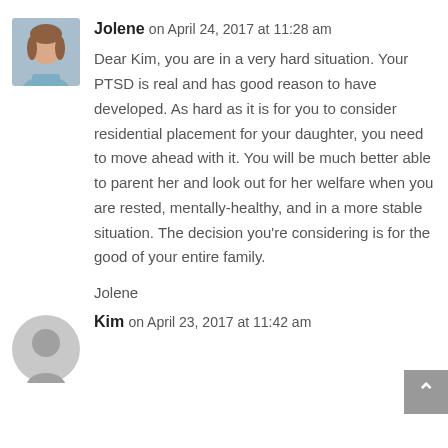[Figure (photo): Avatar photo of Jolene, a woman with light background]
Jolene on April 24, 2017 at 11:28 am
Dear Kim, you are in a very hard situation. Your PTSD is real and has good reason to have developed. As hard as it is for you to consider residential placement for your daughter, you need to move ahead with it. You will be much better able to parent her and look out for her welfare when you are rested, mentally-healthy, and in a more stable situation. The decision you're considering is for the good of your entire family.
Jolene
[Figure (illustration): Generic avatar silhouette for Kim]
Kim on April 23, 2017 at 11:42 am